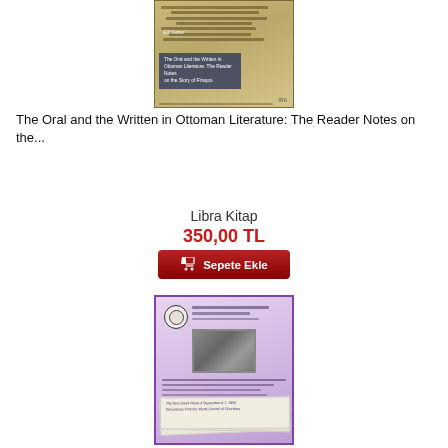[Figure (illustration): Book cover of 'The Oral and the Written in Ottoman Literature: The Reader Notes on the Story of Firaqos' by Elif Sezer. Beige/gold background with Arabic manuscript text visible. Dark blue overlay box with white title text.]
The Oral and the Written in Ottoman Literature: The Reader Notes on the...
Libra Kitap
350,00 TL
[Figure (illustration): Red 'Sepete Ekle' (Add to Cart) button with shopping cart icon.]
[Figure (illustration): Book cover with purple border. Shows a document/letter with a circular seal, a black and white photograph, and some text. Purple/lavender gradient background. Appears to be about the Anti-Greek Riots of September 6-7, 1955.]